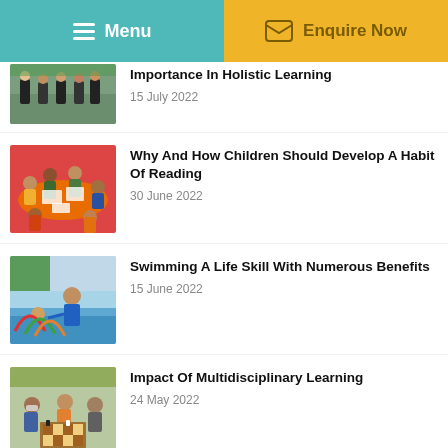Menu | Enquire Now
Importance In Holistic Learning
15 July 2022
Why And How Children Should Develop A Habit Of Reading
30 June 2022
Swimming A Life Skill With Numerous Benefits
15 June 2022
Impact Of Multidisciplinary Learning
24 May 2022